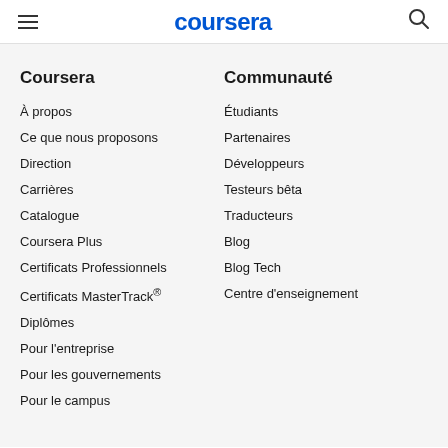coursera
Coursera
À propos
Ce que nous proposons
Direction
Carrières
Catalogue
Coursera Plus
Certificats Professionnels
Certificats MasterTrack®
Diplômes
Pour l'entreprise
Pour les gouvernements
Pour le campus
Communauté
Étudiants
Partenaires
Développeurs
Testeurs bêta
Traducteurs
Blog
Blog Tech
Centre d'enseignement